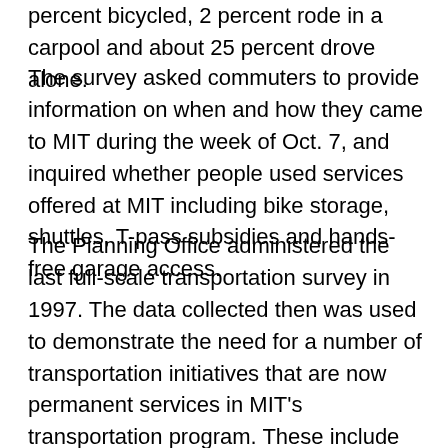percent bicycled, 2 percent rode in a carpool and about 25 percent drove alone.
The survey asked commuters to provide information on when and how they came to MIT during the week of Oct. 7, and inquired whether people used services offered at MIT including bike storage, shuttles, T-pass subsidies and hands-free garage access.
The Planning Office administered the last full-scale transportation survey in 1997. The data collected then was used to demonstrate the need for a number of transportation initiatives that are now permanent services in MIT's transportation program. These include the subsidy for public transit passes, the Tech Shuttle, expansion of the SafeRide program, vacation shuttles, hands-free parking access,